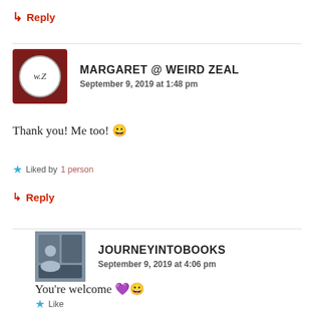↳ Reply
MARGARET @ WEIRD ZEAL
September 9, 2019 at 1:48 pm
Thank you! Me too! 😀
Liked by 1 person
↳ Reply
JOURNEYINTOBOOKS
September 9, 2019 at 4:06 pm
You're welcome 💜😀
★ Like